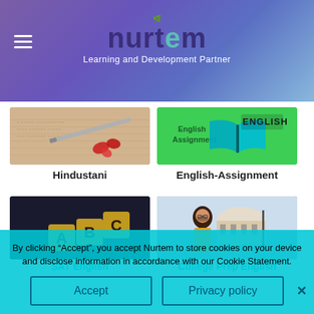nurtem — Learning and Development Partner
[Figure (photo): Hindustani course card — photo of handwritten notebook with pen and red rose petals]
Hindustani
[Figure (photo): English Assignment course card — green background with 'English Assignment' text and open book illustration with 'ENGLISH' stamp]
English-Assignment
[Figure (photo): SAT English course card — dark background with wooden letter blocks showing A, B, C]
SAT English
[Figure (photo): College Prep English course card — photo of young woman in front of historic building]
College Prep English
By clicking “Accept”, you accept Nurtem to store cookies on your device and disclose information in accordance with our Cookie Statement.
Accept
Privacy policy